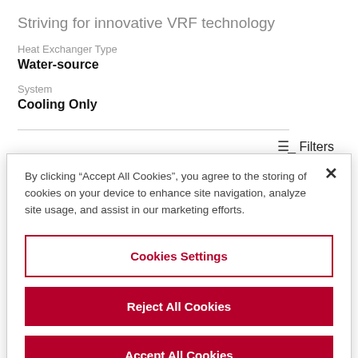Striving for innovative VRF technology
Heat Exchanger Type
Water-source
System
Cooling Only
Filters
By clicking “Accept All Cookies”, you agree to the storing of cookies on your device to enhance site navigation, analyze site usage, and assist in our marketing efforts.
Cookies Settings
Reject All Cookies
Accept All Cookies